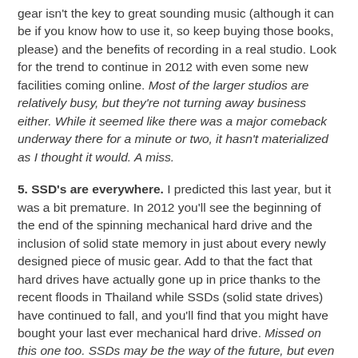gear isn't the key to great sounding music (although it can be if you know how to use it, so keep buying those books, please) and the benefits of recording in a real studio. Look for the trend to continue in 2012 with even some new facilities coming online. Most of the larger studios are relatively busy, but they're not turning away business either. While it seemed like there was a major comeback underway there for a minute or two, it hasn't materialized as I thought it would. A miss.
5. SSD's are everywhere. I predicted this last year, but it was a bit premature. In 2012 you'll see the beginning of the end of the spinning mechanical hard drive and the inclusion of solid state memory in just about every newly designed piece of music gear. Add to that the fact that hard drives have actually gone up in price thanks to the recent floods in Thailand while SSDs (solid state drives) have continued to fall, and you'll find that you might have bought your last ever mechanical hard drive. Missed on this one too. SSDs may be the way of the future, but even the hard drive shortage didn't bring down the prices enough for everyone to forget about spinning magnetic drives.